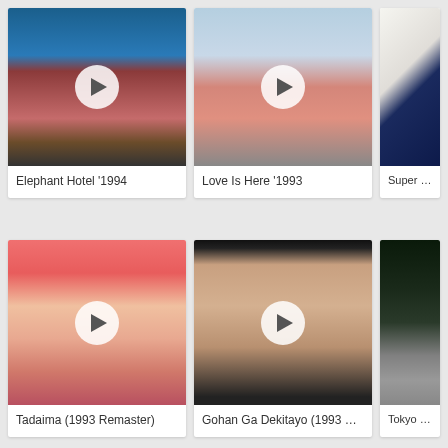[Figure (photo): Album cover for Elephant Hotel 1994 - photo of person in front of brick hotel building]
Elephant Hotel '1994
[Figure (photo): Album cover for Love Is Here 1993 - photo of person in red dress outdoors]
Love Is Here '1993
[Figure (photo): Album cover for Super Folk - Japanese text with abstract design]
Super Folk
[Figure (photo): Album cover for Tadaima 1993 Remaster - illustrated artwork with Japanese characters]
Tadaima (1993 Remaster)
[Figure (photo): Album cover for Gohan Ga Dekitayo 1993 Remaster - photo of smiling young woman]
Gohan Ga Dekitayo (1993 R…
[Figure (photo): Album cover for Tokyo Wa - person with hat and digital/matrix background]
Tokyo Wa